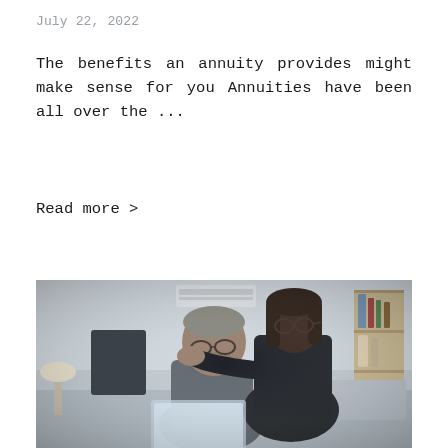July 22, 2022
The benefits an annuity provides might make sense for you Annuities have been all over the ...
Read more >
[Figure (photo): A middle-aged couple, a man in a grey t-shirt and a woman in a black top, looking at a laptop together in a living room setting.]